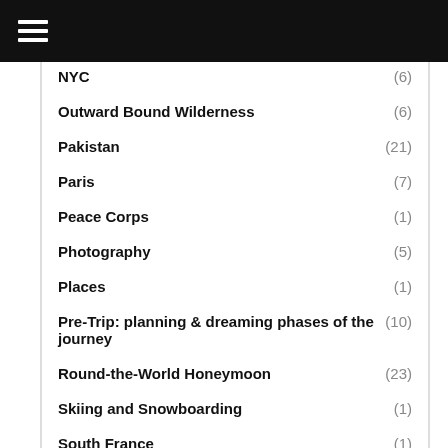Navigation menu header bar
NYC (6)
Outward Bound Wilderness (6)
Pakistan (21)
Paris (7)
Peace Corps (1)
Photography (5)
Places (1)
Pre-Trip: planning & dreaming phases of the journey (10)
Round-the-World Honeymoon (23)
Skiing and Snowboarding (1)
South France (1)